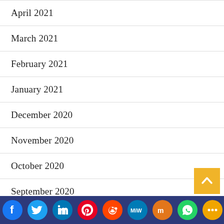April 2021
March 2021
February 2021
January 2021
December 2020
November 2020
October 2020
September 2020
August 2020
[Figure (infographic): Social media share bar with icons: Facebook, Twitter, LinkedIn, Pinterest, Reddit, MeWe, Mix, WhatsApp, More]